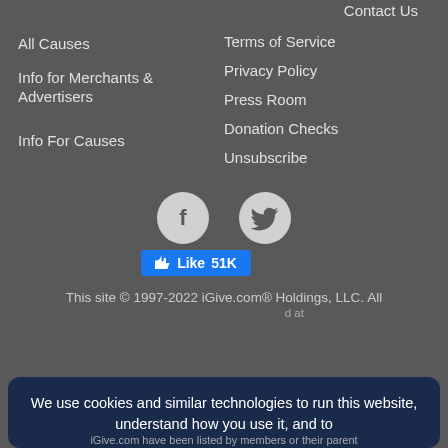Contact Us
All Causes
Terms of Service
Info for Merchants & Advertisers
Privacy Policy
Press Room
Info For Causes
Donation Checks
Unsubscribe
[Figure (illustration): Facebook and Twitter social media icons as circular buttons with a Facebook Like 51K button below]
This site © 1997-2022 iGive.com® Holdings, LLC. All
We use cookies and similar technologies to run this website, understand how you use it, and to
iGive.com have been listed by members or their parent